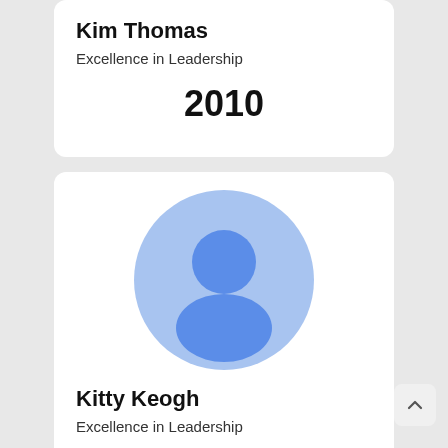Kim Thomas
Excellence in Leadership
2010
[Figure (illustration): Generic user avatar: light blue circle background with a darker blue person silhouette (head circle and body shape)]
Kitty Keogh
Excellence in Leadership
2010